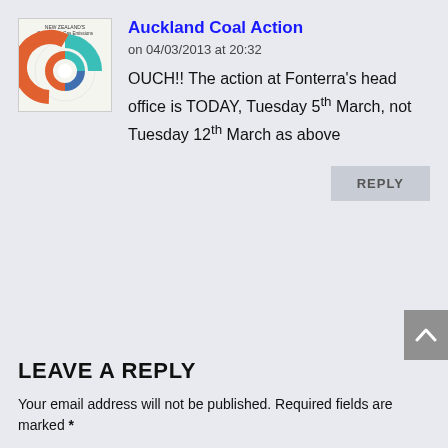[Figure (other): Avatar thumbnail showing a donut/pie chart infographic titled 'New Zealand's Greenhouse Gas Emissions' with orange, teal, and blue segments]
Auckland Coal Action
on 04/03/2013 at 20:32
OUCH!! The action at Fonterra's head office is TODAY, Tuesday 5th March, not Tuesday 12th March as above
REPLY
LEAVE A REPLY
Your email address will not be published. Required fields are marked *